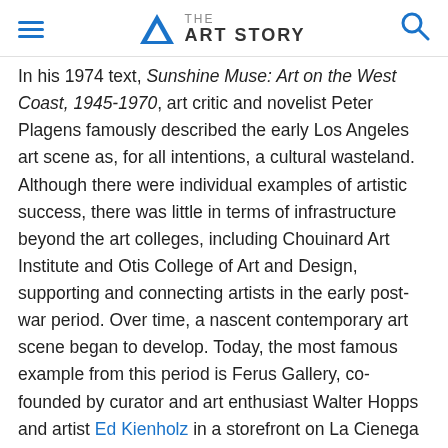THE ART STORY
In his 1974 text, Sunshine Muse: Art on the West Coast, 1945-1970, art critic and novelist Peter Plagens famously described the early Los Angeles art scene as, for all intentions, a cultural wasteland. Although there were individual examples of artistic success, there was little in terms of infrastructure beyond the art colleges, including Chouinard Art Institute and Otis College of Art and Design, supporting and connecting artists in the early post-war period. Over time, a nascent contemporary art scene began to develop. Today, the most famous example from this period is Ferus Gallery, co-founded by curator and art enthusiast Walter Hopps and artist Ed Kienholz in a storefront on La Cienega Avenue in 1959.
Ferus was among the first art galleries in the region to focus on exhibiting and promoting the young Southern Californian avant-garde during this period. The now-